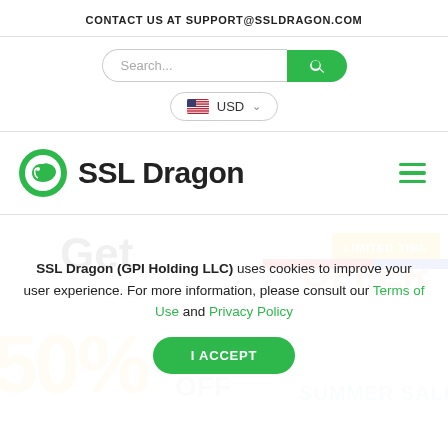CONTACT US AT SUPPORT@SSLDRAGON.COM
[Figure (screenshot): Search bar with green search button and USD currency selector]
[Figure (logo): SSL Dragon logo with green dragon icon and bold text 'SSL Dragon', hamburger menu icon on right]
Get
more than
[Figure (infographic): Limited time offer badge with red and blue diagonal stripes, '50% OFF SUMMER SALE' promotional text]
SSL Dragon (GPI Holding LLC) uses cookies to improve your user experience. For more information, please consult our Terms of Use and Privacy Policy
I ACCEPT